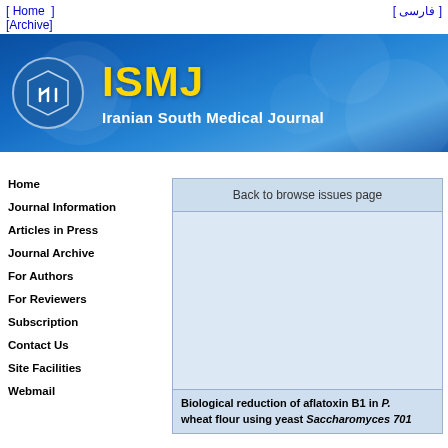[ Home ]  [ فارسی ]
[Archive]
[Figure (logo): ISMJ - Iranian South Medical Journal banner with logo on blue background]
Home
Journal Information
Articles in Press
Journal Archive
For Authors
For Reviewers
Subscription
Contact Us
Site Facilities
Webmail
Back to browse issues page
Biological reduction of aflatoxin B1 in P. wheat flour using yeast Saccharomyces 701